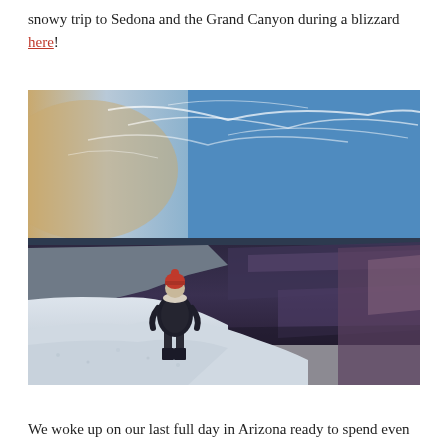snowy trip to Sedona and the Grand Canyon during a blizzard here!
[Figure (photo): A person standing on a snow-covered rim of the Grand Canyon, viewed from behind, wearing a red beanie and dark winter coat with boots. The canyon stretches out into the distance under a dramatic sky with wispy clouds and blue sky.]
We woke up on our last full day in Arizona ready to spend even